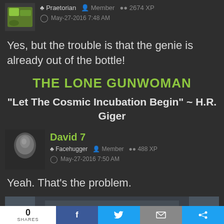Praetorian | Member | 2674 XP | May-27-2016 7:48 AM
Yes, but the trouble is that the genie is already out of the bottle!
THE LONE GUNWOMAN
"Let The Cosmic Incubation Begin" ~ H.R. Giger
David 7 | Facehugger | Member | 488 XP | May-27-2016 7:50 AM
Yeah. That's the problem.
[Figure (photo): Partially visible image at bottom of page]
0 SHARES | Facebook | Twitter | Mail | Share